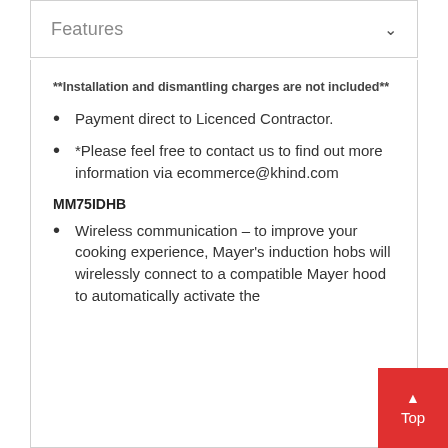Features
**Installation and dismantling charges are not included**
Payment direct to Licenced Contractor.
*Please feel free to contact us to find out more information via ecommerce@khind.com
MM75IDHB
Wireless communication – to improve your cooking experience, Mayer's induction hobs will wirelessly connect to a compatible Mayer hood to automatically activate the